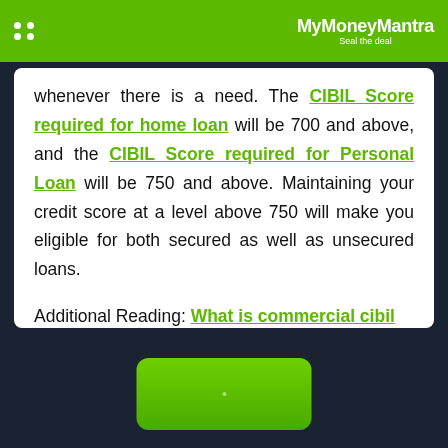MyMoneyMantra - Seal the deal
whenever there is a need. The CIBIL Score required for home loan will be 700 and above, and the CIBIL Score required for Personal Loan will be 750 and above. Maintaining your credit score at a level above 750 will make you eligible for both secured as well as unsecured loans.
Additional Reading: What is commercial cibil score?